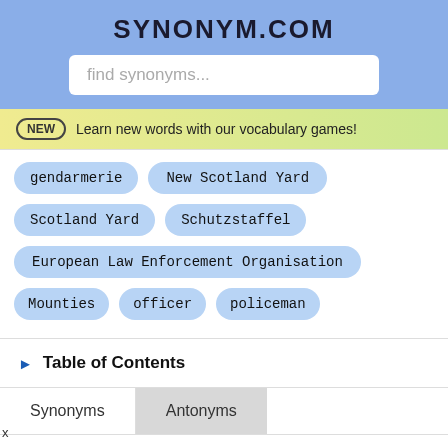SYNONYM.COM
find synonyms...
NEW  Learn new words with our vocabulary games!
gendarmerie
New Scotland Yard
Scotland Yard
Schutzstaffel
European Law Enforcement Organisation
Mounties
officer
policeman
▶ Table of Contents
Synonyms  Antonyms